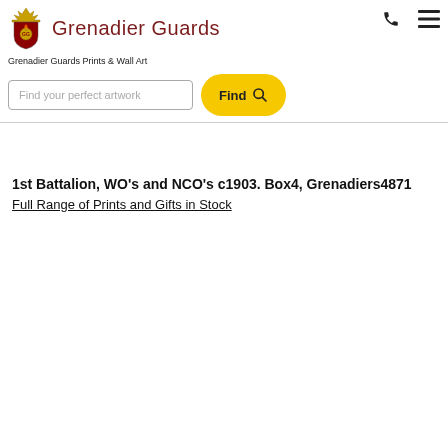Grenadier Guards
Grenadier Guards Prints & Wall Art
Find your perfect artwork
1st Battalion, WO's and NCO's c1903. Box4, Grenadiers4871
Full Range of Prints and Gifts in Stock